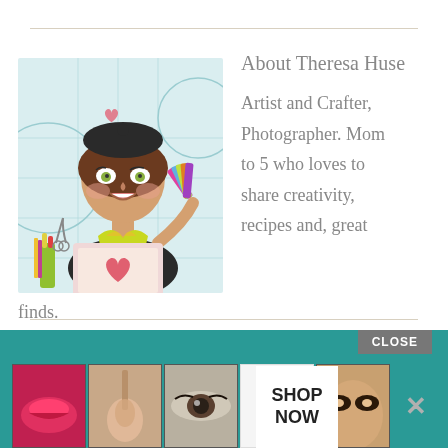[Figure (illustration): Cartoon illustration of a stylish woman with brown hair wearing a black beret, holding a color swatch fan, with a laptop showing a heart in front of her, art supplies nearby, on a light blue geometric background]
About Theresa Huse
Artist and Crafter, Photographer. Mom to 5 who loves to share creativity, recipes and, great finds.
[Figure (screenshot): Advertisement banner for ULTA Beauty with makeup product photos (lips, brush, eye, logo, face) and SHOP NOW button, on teal background with CLOSE button]